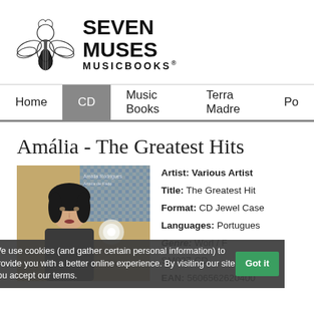[Figure (logo): Seven Muses Musicbooks logo with angel playing guitar and bold text SEVEN MUSES MUSICBOOKS®]
Home | CD | Music Books | Terra Madre | Po
Amália - The Greatest Hits
[Figure (photo): Album cover photo showing a woman with dark hair and decorative mosaic/floral elements]
Artist: Various Artist
Title: The Greatest Hit
Format: CD Jewel Case
Languages: Portugues
Genre: Worl / F
SM027-CD
EAN: 5606562620400
We use cookies (and gather certain personal information) to provide you with a better online experience. By visiting our site you accept our terms.